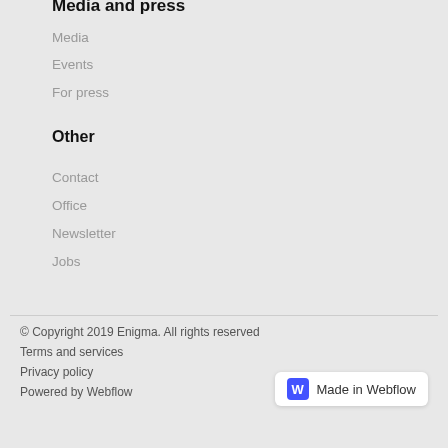Media and press
Media
Events
For press
Other
Contact
Office
Newsletter
Jobs
© Copyright 2019 Enigma. All rights reserved
Terms and services
Privacy policy
Powered by Webflow
Made in Webflow